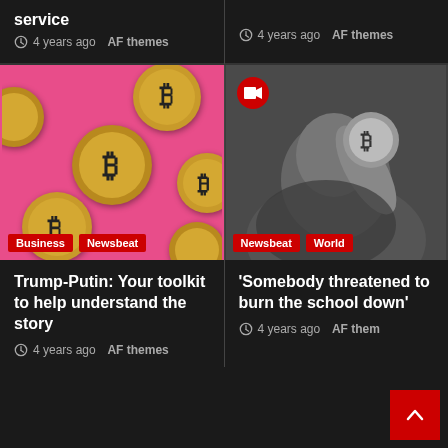service
4 years ago  AF themes
4 years ago  AF themes
[Figure (photo): Bitcoin gold coins on pink background with Business and Newsbeat category tags]
[Figure (photo): Man holding a Bitcoin coin close to camera, blurred background, with Newsbeat and World category tags and video icon]
Trump-Putin: Your toolkit to help understand the story
4 years ago  AF themes
'Somebody threatened to burn the school down'
4 years ago  AF them